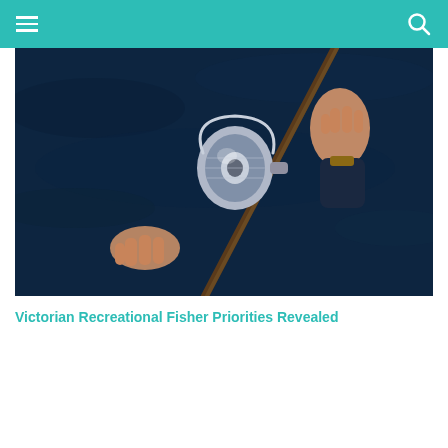[Figure (photo): Close-up photograph of a person's hands holding a fishing rod and spinning reel over dark blue water]
Victorian Recreational Fisher Priorities Revealed
READ MORE >